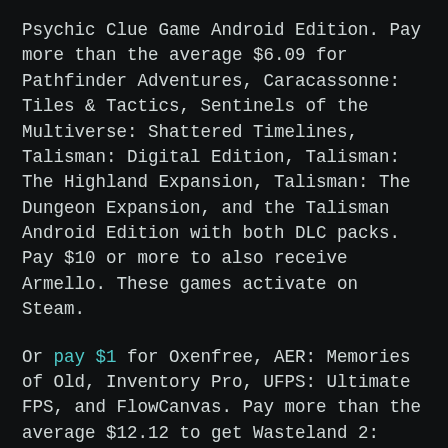Psychic Clue Game Android Edition. Pay more than the average $6.09 for Pathfinder Adventures, Caracassonne: Tiles & Tactics, Sentinels of the Multiverse: Shattered Timelines, Talisman: Digital Edition, Talisman: The Highland Expansion, Talisman: The Dungeon Expansion, and the Talisman Android Edition with both DLC packs. Pay $10 or more to also receive Armello. These games activate on Steam.
Or pay $1 for Oxenfree, AER: Memories of Old, Inventory Pro, UFPS: Ultimate FPS, and FlowCanvas. Pay more than the average $12.12 to get Wasteland 2: Director's Cut, The Final Station, Last Day of June, Realistic Effects Pack 4, Ultimate Game Music Collection, and GameFlow. Pay $15 or more to also receive Torment: Tides of Numenera, Shadow Tactics: Blades of the Shogun, Discover Unity Game Development - From Zero to 12